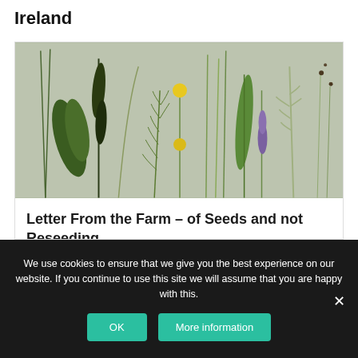Ireland
[Figure (photo): Various wild plant stems and leaves including grasses, dandelion flowers, and other wildflowers laid out on a light grey/green background]
Letter From the Farm – of Seeds and not Reseeding
We use cookies to ensure that we give you the best experience on our website. If you continue to use this site we will assume that you are happy with this.